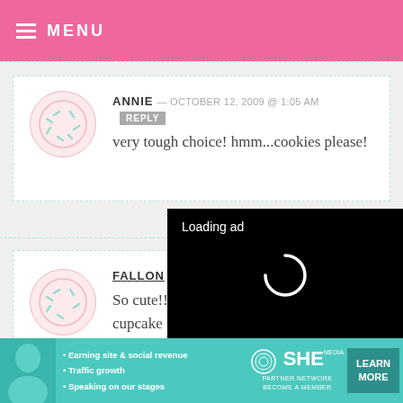MENU
ANNIE — OCTOBER 12, 2009 @ 1:05 AM  REPLY
very tough choice! hmm...cookies please!
FALLON
So cute!! cupcake ... plenty of cookie cookbooks! It would
[Figure (screenshot): Video ad overlay showing 'Loading ad' text with a spinner icon and playback controls (pause, expand, mute) on a black background]
• Earning site & social revenue  • Traffic growth  • Speaking on our stages  SHE PARTNER NETWORK BECOME A MEMBER  LEARN MORE